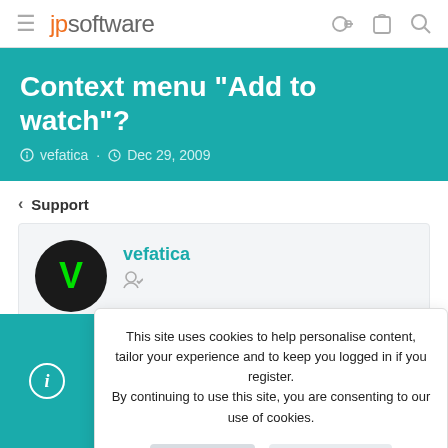jpsoftware
Context menu "Add to watch"?
vefatica · Dec 29, 2009
< Support
vefatica
This site uses cookies to help personalise content, tailor your experience and to keep you logged in if you register. By continuing to use this site, you are consenting to our use of cookies.
Accept
Learn more...